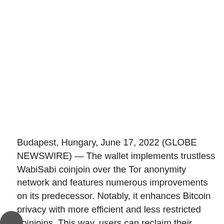Budapest, Hungary, June 17, 2022 (GLOBE NEWSWIRE) — The wallet implements trustless WabiSabi coinjoin over the Tor anonymity network and features numerous improvements on its predecessor. Notably, it enhances Bitcoin privacy with more efficient and less restricted coinjoins. This way, users can reclaim their privacy without requiring a minimum denomination.